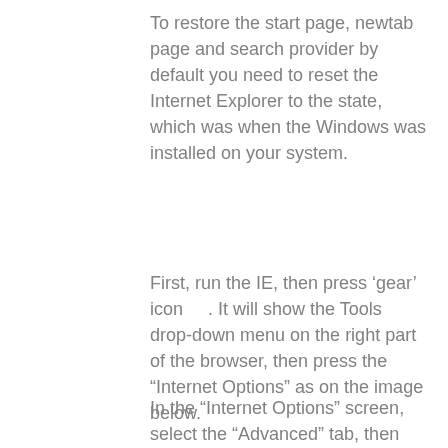To restore the start page, newtab page and search provider by default you need to reset the Internet Explorer to the state, which was when the Windows was installed on your system.
First, run the IE, then press ‘gear’ icon . It will show the Tools drop-down menu on the right part of the browser, then press the “Internet Options” as on the image below.
In the “Internet Options” screen, select the “Advanced” tab, then press the “Reset”